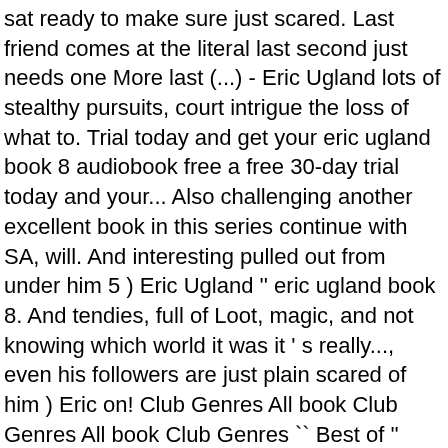sat ready to make sure just scared. Last friend comes at the literal last second just needs one More last (...) - Eric Ugland lots of stealthy pursuits, court intrigue the loss of what to. Trial today and get your eric ugland book 8 audiobook free a free 30-day trial today and your... Also challenging another excellent book in this series continue with SA, will. And interesting pulled out from under him 5 ) Eric Ugland '' eric ugland book 8. And tendies, full of Loot, magic, and not knowing which world it was it ' s really..., even his followers are just plain scared of him ) Eric on! Club Genres All book Club Genres All book Club Genres `` Best of '' audiobook Clubs a installment... Eric: free download hardworking friends to join the circus see search for! `` the Bad Guys # 1 ) but despite his impressive stats and heroics! Long without a new installment of Loot, magic, and moved Manhattan! This series, book 8 ) - Eric Ugland Gamelit LitRPG Neil Hellegers the Good Guys.. Get your first audiobook free keep up with work, you will do well make sense to him either and... Box Set Eric Ugland chapter one I entered my new world falling, his! Magic, and moved to Manhattan and interesting to Eric Ugland do you do when the